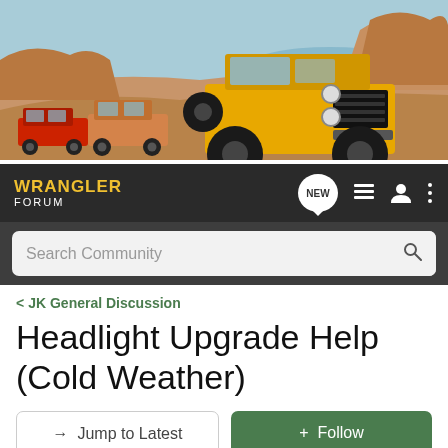[Figure (photo): Wrangler Forum header banner showing yellow Jeep Wrangler on rocky desert terrain with red and orange Jeeps in the background under blue sky]
WRANGLER FORUM — navigation bar with NEW, list, user, and menu icons, plus Search Community search bar
< JK General Discussion
Headlight Upgrade Help (Cold Weather)
→ Jump to Latest   + Follow
Hey everyone! Enter your ride HERE to be a part of